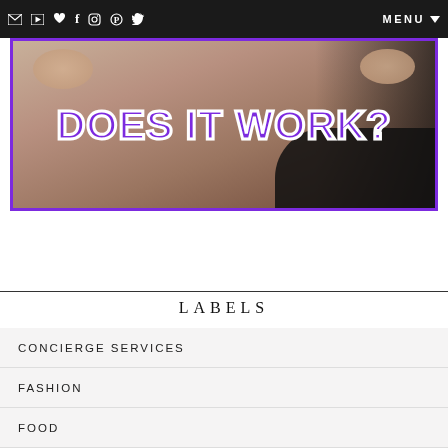✉ ▶ ♥ f ◎ ⊕ ✦   MENU ▼
[Figure (photo): Banner image showing a woman holding something with text overlay reading 'DOES IT WORK?' in purple bold font with white outline, purple border around image]
LABELS
CONCIERGE SERVICES
FASHION
FOOD
FRAGRANCES
GADGETS
HAIR
HEALTH